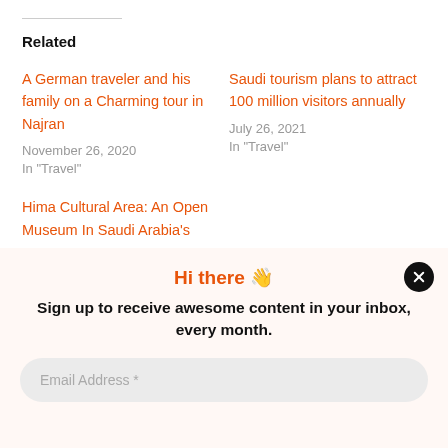Related
A German traveler and his family on a Charming tour in Najran
November 26, 2020
In "Travel"
Saudi tourism plans to attract 100 million visitors annually
July 26, 2021
In "Travel"
Hima Cultural Area: An Open Museum In Saudi Arabia's
Hi there 👋
Sign up to receive awesome content in your inbox, every month.
Email Address *